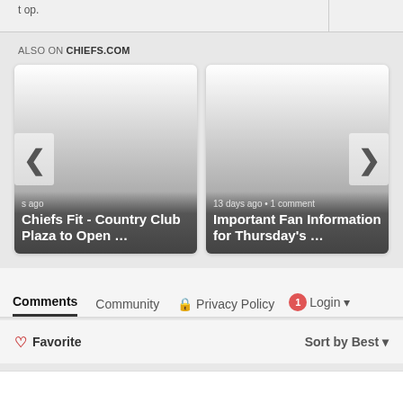ALSO ON CHIEFS.COM
[Figure (screenshot): Two article cards for chiefs.com. Left card: 's ago | Chiefs Fit - Country Club Plaza to Open ...; Right card: 13 days ago • 1 comment | Important Fan Information for Thursday's ...]
Comments | Community | Privacy Policy | 1 Login ▾
♡ Favorite | Sort by Best ▾